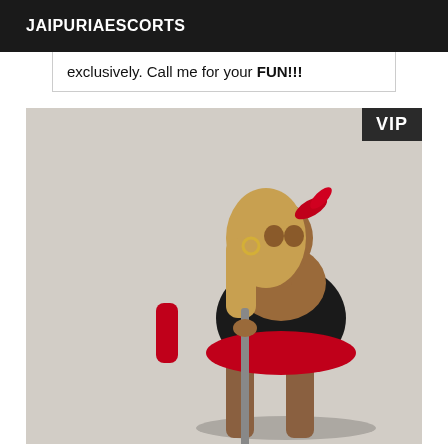JAIPURIAESCORTS
exclusively. Call me for your FUN!!!
[Figure (photo): A woman in black and red lingerie posing in front of a light grey background. She has long blonde hair with a red feather accessory and is wearing red gloves. A VIP badge appears in the top right corner of the image.]